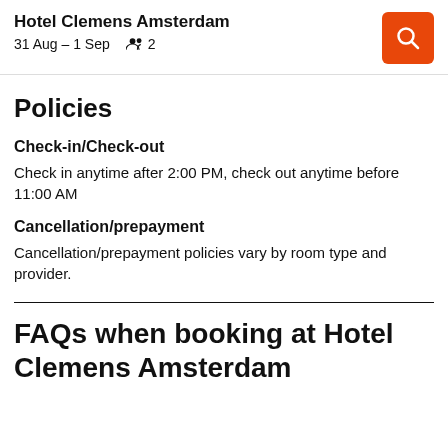Hotel Clemens Amsterdam
31 Aug – 1 Sep   2
Policies
Check-in/Check-out
Check in anytime after 2:00 PM, check out anytime before 11:00 AM
Cancellation/prepayment
Cancellation/prepayment policies vary by room type and provider.
FAQs when booking at Hotel Clemens Amsterdam